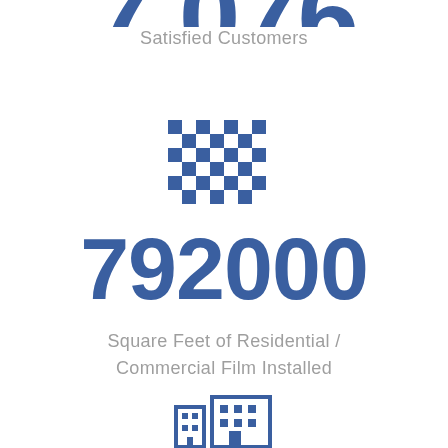Satisfied Customers
[Figure (illustration): Blue checkerboard/grid pattern icon]
792000
Square Feet of Residential / Commercial Film Installed
[Figure (illustration): Blue building/city icon partially visible at bottom]